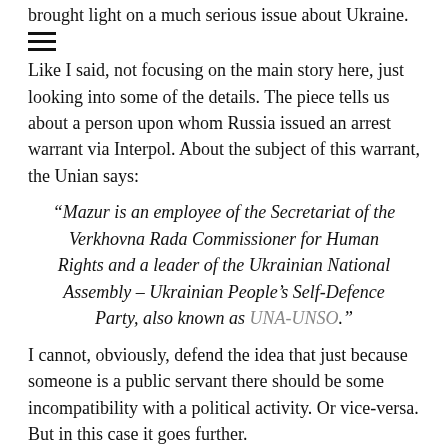brought light on a much serious issue about Ukraine.
[Figure (other): Hamburger menu icon (three horizontal lines)]
Like I said, not focusing on the main story here, just looking into some of the details. The piece tells us about a person upon whom Russia issued an arrest warrant via Interpol. About the subject of this warrant, the Unian says:
“Mazur is an employee of the Secretariat of the Verkhovna Rada Commissioner for Human Rights and a leader of the Ukrainian National Assembly – Ukrainian People’s Self-Defence Party, also known as UNA-UNSO.”
I cannot, obviously, defend the idea that just because someone is a public servant there should be some incompatibility with a political activity. Or vice-versa. But in this case it goes further.